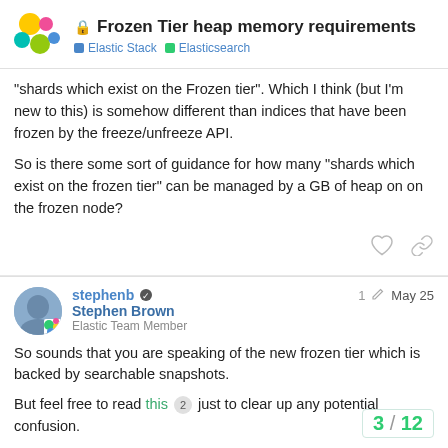Frozen Tier heap memory requirements — Elastic Stack | Elasticsearch
"shards which exist on the Frozen tier". Which I think (but I'm new to this) is somehow different than indices that have been frozen by the freeze/unfreeze API.
So is there some sort of guidance for how many "shards which exist on the frozen tier" can be managed by a GB of heap on on the frozen node?
stephenb — Stephen Brown — Elastic Team Member — 1 edit — May 25
So sounds that you are speaking of the new frozen tier which is backed by searchable snapshots.
But feel free to read this 2 just to clear up any potential confusion.
3 / 12